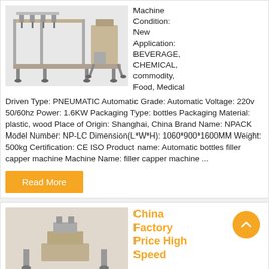[Figure (photo): Industrial bottle filling and capping machine, linear conveyor style with multiple filling heads]
Machine Condition: New Application: BEVERAGE, CHEMICAL, commodity, Food, Medical
Driven Type: PNEUMATIC Automatic Grade: Automatic Voltage: 220v 50/60hz Power: 1.6KW Packaging Type: bottles Packaging Material: plastic, wood Place of Origin: Shanghai, China Brand Name: NPACK Model Number: NP-LC Dimension(L*W*H): 1060*900*1600MM Weight: 500kg Certification: CE ISO Product name: Automatic bottles filler capper machine Machine Name: filler capper machine ...
Read More
[Figure (photo): Second industrial machine product image, partially visible]
China Factory Price High Speed